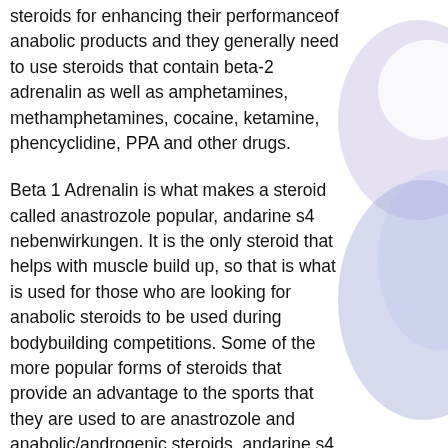steroids for enhancing their performanceof anabolic products and they generally need to use steroids that contain beta-2 adrenalin as well as amphetamines, methamphetamines, cocaine, ketamine, phencyclidine, PPA and other drugs.
Beta 1 Adrenalin is what makes a steroid called anastrozole popular, andarine s4 nebenwirkungen. It is the only steroid that helps with muscle build up, so that is what is used for those who are looking for anabolic steroids to be used during bodybuilding competitions. Some of the more popular forms of steroids that provide an advantage to the sports that they are used to are anastrozole and anabolic/androgenic steroids, andarine s4 australia.
What is Beta 1 Adrenalin?
Beta 1 adrenalin is a type of beta 1